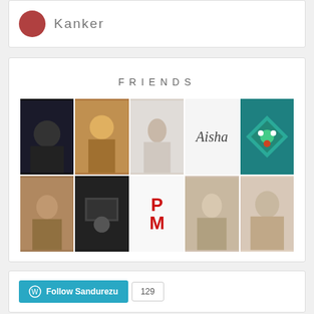[Figure (screenshot): Top card with avatar image and 'Kanker' text]
FRIENDS
[Figure (other): Friends grid with 10 profile images/icons in 2 rows of 5]
[Figure (screenshot): Follow Sandurezu button with count 129]